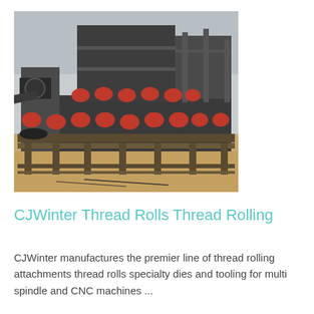[Figure (photo): Outdoor photograph of large industrial thread rolling machinery with red cylindrical components, mounted on metal frames with scaffolding, situated on a sandy ground area with an overcast sky.]
CJWinter Thread Rolls Thread Rolling
CJWinter manufactures the premier line of thread rolling attachments thread rolls specialty dies and tooling for multi spindle and CNC machines ...